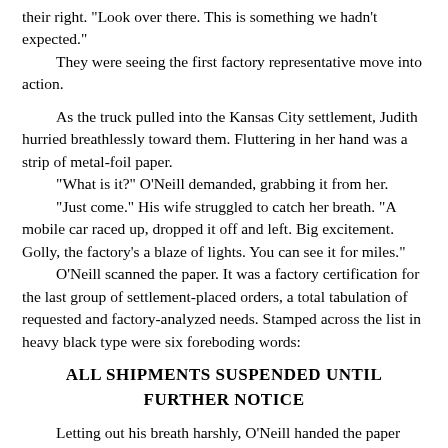their right. "Look over there. This is something we hadn't expected."
	They were seeing the first factory representative move into action.

As the truck pulled into the Kansas City settlement, Judith hurried breathlessly toward them. Fluttering in her hand was a strip of metal-foil paper.
	"What is it?" O'Neill demanded, grabbing it from her.
	"Just come." His wife struggled to catch her breath. "A mobile car raced up, dropped it off and left. Big excitement. Golly, the factory's a blaze of lights. You can see it for miles."
	O'Neill scanned the paper. It was a factory certification for the last group of settlement-placed orders, a total tabulation of requested and factory-analyzed needs. Stamped across the list in heavy black type were six foreboding words:
ALL SHIPMENTS SUSPENDED UNTIL FURTHER NOTICE
Letting out his breath harshly, O'Neill handed the paper over to Ferine. "No more consumer goods," he said ironically, a nervous grin twitching across his face. "The network's going on a wartime footing."
	"Then we did it?" Morrison asked haltingly.
	"That's right," O'Neill said. Now that the conflict had been